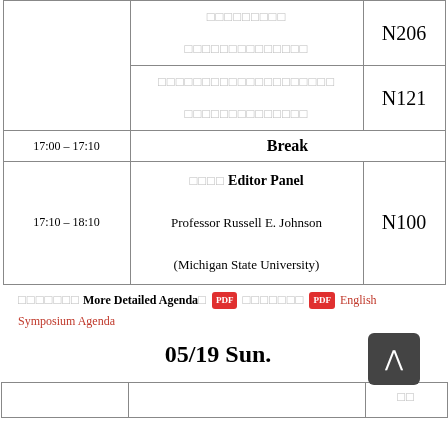| Time | Content | Room |
| --- | --- | --- |
|  | □□□□□□□□□  □□□□□□□□□□□□□□ | N206 |
|  | □□□□□□□□□□□□□□□□□□□□  □□□□□□□□□□□□□□ | N121 |
| 17:00 – 17:10 | Break |  |
| 17:10 – 18:10 | □□□□ Editor Panel  Professor Russell E. Johnson (Michigan State University) | N100 |
□□□□□□□ More Detailed Agenda□ [PDF] □□□□□□□ [PDF] English Symposium Agenda
05/19 Sun.
|  |  | □□ |